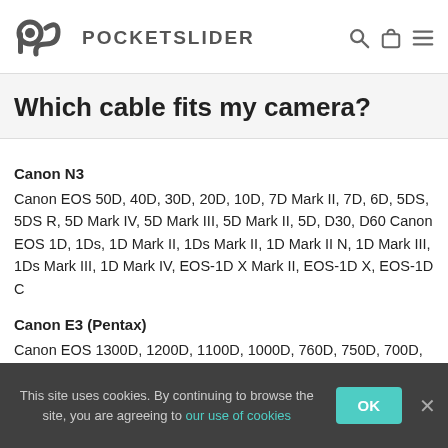POCKETSLIDER
Which cable fits my camera?
Canon N3
Canon EOS 50D, 40D, 30D, 20D, 10D, 7D Mark II, 7D, 6D, 5DS, 5DS R, 5D Mark IV, 5D Mark III, 5D Mark II, 5D, D30, D60 Canon EOS 1D, 1Ds, 1D Mark II, 1Ds Mark II, 1D Mark II N, 1D Mark III, 1Ds Mark III, 1D Mark IV, EOS-1D X Mark II, EOS-1D X, EOS-1D C
Canon E3 (Pentax)
Canon EOS 1300D, 1200D, 1100D, 1000D, 760D, 750D, 700D,
This site uses cookies. By continuing to browse the site, you are agreeing to our use of cookies